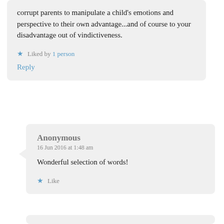corrupt parents to manipulate a child's emotions and perspective to their own advantage...and of course to your disadvantage out of vindictiveness.
Liked by 1 person
Reply
Anonymous
16 Jun 2016 at 1:48 am
Wonderful selection of words!
Like